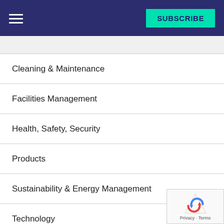SUBSCRIBE
Cleaning & Maintenance
Facilities Management
Health, Safety, Security
Products
Sustainability & Energy Management
Technology
Total Facilities News
Uncategorised